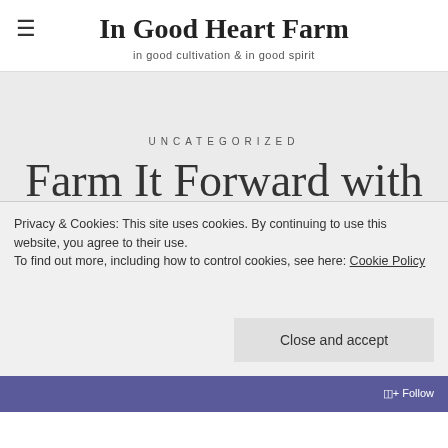In Good Heart Farm
in good cultivation & in good spirit
UNCATEGORIZED
Farm It Forward with Ben's Produce and
Privacy & Cookies: This site uses cookies. By continuing to use this website, you agree to their use.
To find out more, including how to control cookies, see here: Cookie Policy
Close and accept